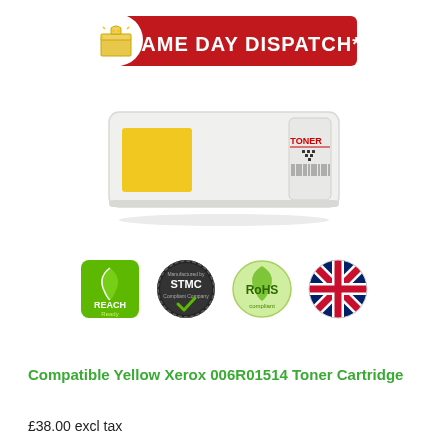[Figure (illustration): Same Day Dispatch* promotional banner with red background, bold white text 'SAME DAY DISPATCH*' and a cartoon box with stars logo on the left]
[Figure (photo): Yellow compatible toner cartridge box with 'TONER' label and barcode area on white background]
[Figure (illustration): Four certification badges in a row: green REACH Ready badge, black STMC Compliant Company badge with checkmark, green RoHS compliant badge, and UK flag circle badge]
Compatible Yellow Xerox 006R01514 Toner Cartridge
£38.00 excl tax